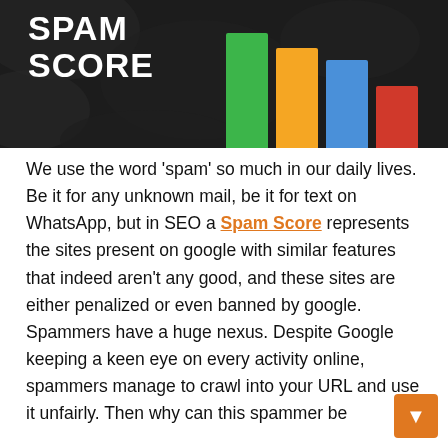[Figure (bar-chart): Banner image with dark textured background showing the text SPAM SCORE on the left and a bar chart with four bars (green, orange, blue, red) on the right.]
We use the word ‘spam’ so much in our daily lives. Be it for any unknown mail, be it for text on WhatsApp, but in SEO a Spam Score represents the sites present on google with similar features that indeed aren’t any good, and these sites are either penalized or even banned by google. Spammers have a huge nexus. Despite Google keeping a keen eye on every activity online, spammers manage to crawl into your URL and use it unfairly. Then why can this spammer be